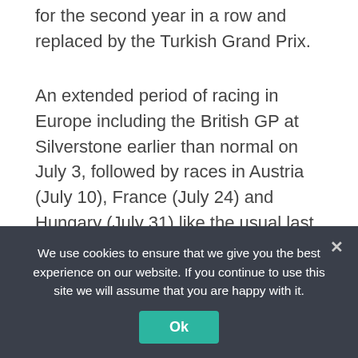for the second year in a row and replaced by the Turkish Grand Prix.
An extended period of racing in Europe including the British GP at Silverstone earlier than normal on July 3, followed by races in Austria (July 10), France (July 24) and Hungary (July 31) like the usual last races before the four-week midseason break.
You can also read:  Hamilton sets the pace at Interlagos
We use cookies to ensure that we give you the best experience on our website. If you continue to use this site we will assume that you are happy with it.